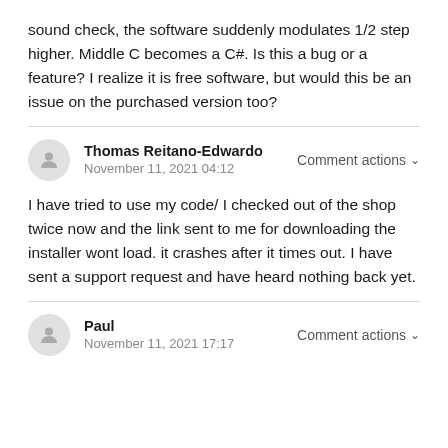sound check, the software suddenly modulates 1/2 step higher. Middle C becomes a C#. Is this a bug or a feature? I realize it is free software, but would this be an issue on the purchased version too?
Thomas Reitano-Edwardo
November 11, 2021 04:12
Comment actions
I have tried to use my code/ I checked out of the shop twice now and the link sent to me for downloading the installer wont load. it crashes after it times out. I have sent a support request and have heard nothing back yet.
Paul
November 11, 2021 17:17
Comment actions